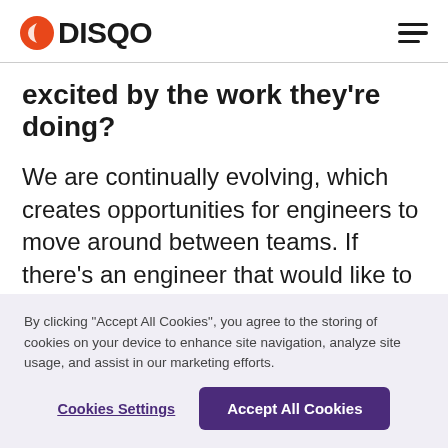DISQO
excited by the work they're doing?
We are continually evolving, which creates opportunities for engineers to move around between teams. If there's an engineer that would like to expand from one team to another
By clicking "Accept All Cookies", you agree to the storing of cookies on your device to enhance site navigation, analyze site usage, and assist in our marketing efforts.
Cookies Settings | Accept All Cookies